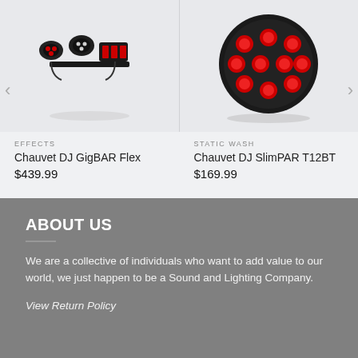[Figure (photo): Chauvet DJ GigBAR Flex lighting effects unit with multiple LED heads on dark background]
EFFECTS
Chauvet DJ GigBAR Flex
$439.99
[Figure (photo): Chauvet DJ SlimPAR T12BT round PAR lighting fixture with red LEDs on light background]
STATIC WASH
Chauvet DJ SlimPAR T12BT
$169.99
ABOUT US
We are a collective of individuals who want to add value to our world, we just happen to be a Sound and Lighting Company.
View Return Policy